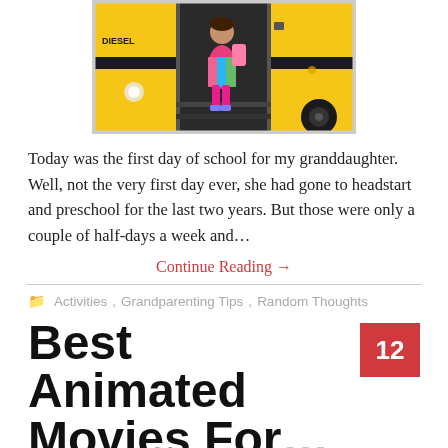[Figure (photo): A young child in a colorful dress and pink leggings with a backpack, standing on the steps of a yellow school bus labeled DIESEL. The bus door is open.]
Today was the first day of school for my granddaughter. Well, not the very first day ever, she had gone to headstart and preschool for the last two years. But those were only a couple of half-days a week and…
Continue Reading →
Activities, Grandparenting Tips, Random Thoughts
Best Animated Movies For…